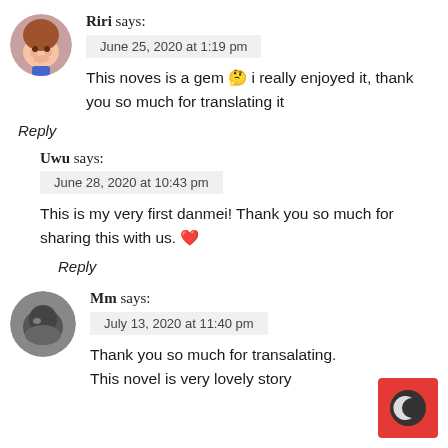Riri says:
June 25, 2020 at 1:19 pm
This noves is a gem 🤔 i really enjoyed it, thank you so much for translating it
Reply
Uwu says:
June 28, 2020 at 10:43 pm
This is my very first danmei! Thank you so much for sharing this with us. ❤
Reply
Mm says:
July 13, 2020 at 11:40 pm
Thank you so much for transalating. This novel is very lovely story
[Figure (logo): Red square logo with a crescent moon icon]